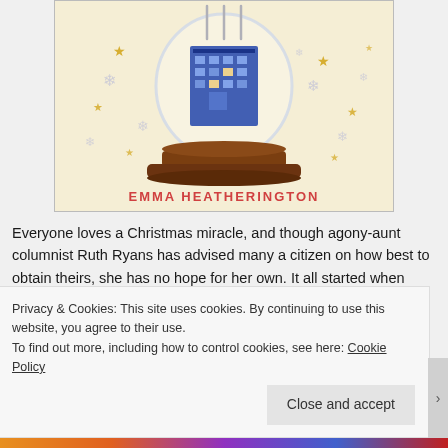[Figure (illustration): Book cover showing a snow globe with a building inside, surrounded by gold stars and white snowflakes, with the author name EMMA HEATHERINGTON in red letters at the bottom on a cream background.]
Everyone loves a Christmas miracle, and though agony-aunt columnist Ruth Ryans has advised many a citizen on how best to obtain theirs, she has no hope for her own. It all started when Ruth's dad died, and her zest for life, her job and her friends kind of just went kaput.
Privacy & Cookies: This site uses cookies. By continuing to use this website, you agree to their use.
To find out more, including how to control cookies, see here: Cookie Policy